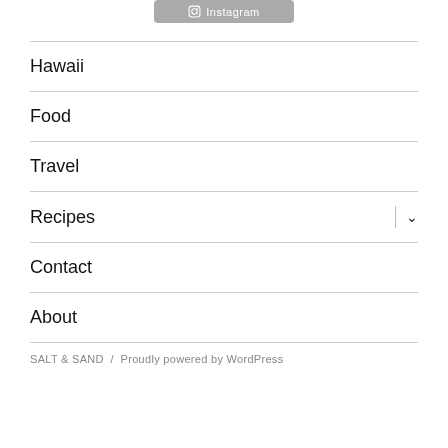[Figure (other): Instagram button with icon, gray rounded rectangle with white Instagram text]
Hawaii
Food
Travel
Recipes
Contact
About
SALT & SAND  /  Proudly powered by WordPress